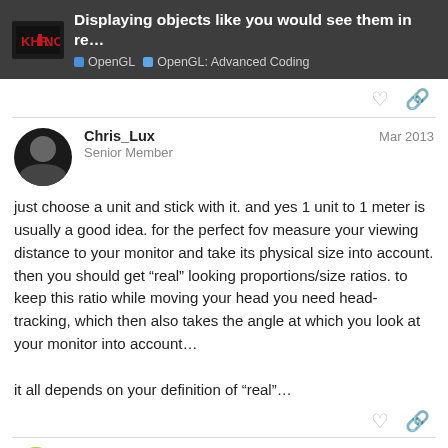Displaying objects like you would see them in re... | OpenGL | OpenGL: Advanced Coding
Chris_Lux  Mar 2013
Senior Member
just choose a unit and stick with it. and yes 1 unit to 1 meter is usually a good idea. for the perfect fov measure your viewing distance to your monitor and take its physical size into account. then you should get “real” looking proportions/size ratios. to keep this ratio while moving your head you need head-tracking, which then also takes the angle at which you look at your monitor into account…

it all depends on your definition of “real”…
fn12  Mar 2013